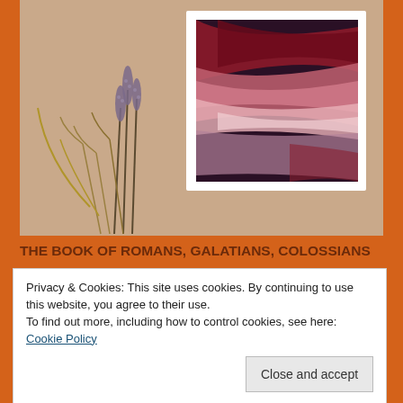[Figure (photo): A beige/tan flat-lay background with dried lavender stems and dried wheat/grass stems on the left, and a framed abstract art print on the right showing swirling dark red, pink, and white flowing shapes.]
THE BOOK OF ROMANS, GALATIANS, COLOSSIANS
Privacy & Cookies: This site uses cookies. By continuing to use this website, you agree to their use.
To find out more, including how to control cookies, see here:
Cookie Policy
Close and accept
“Oh, what joy for those whose disobedience is